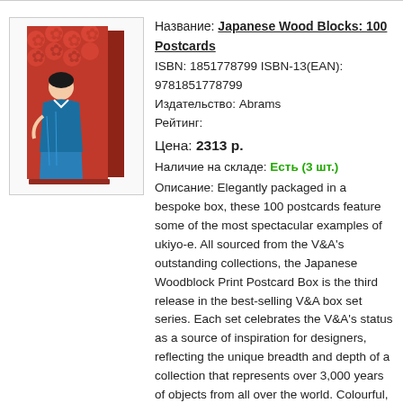[Figure (photo): Photo of a book/postcard box set titled 'Japanese Wood Blocks: 100 Postcards', showing ukiyo-e style artwork on the cover with a Japanese figure in traditional robes against a red floral background.]
Название: Japanese Wood Blocks: 100 Postcards
ISBN: 1851778799 ISBN-13(EAN): 9781851778799
Издательство: Abrams
Рейтинг:
Цена: 2313 р.
Наличие на складе: Есть (3 шт.)
Описание: Elegantly packaged in a bespoke box, these 100 postcards feature some of the most spectacular examples of ukiyo-e. All sourced from the V&A's outstanding collections, the Japanese Woodblock Print Postcard Box is the third release in the best-selling V&A box set series. Each set celebrates the V&A's status as a source of inspiration for designers, reflecting the unique breadth and depth of a collection that represents over 3,000 years of objects from all over the world. Colourful, bold and moving, these masterpieces acutely capture the vibrancy and atmosphere of their depicted scenes and subjects, from serene waterfalls to crashing waves, from graceful courtesans to celebrity actors.